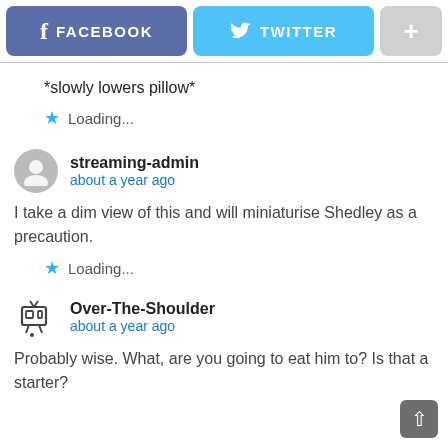[Figure (screenshot): Social media share buttons: Facebook (blue-purple), Twitter (light blue), and a plus button (grey)]
*slowly lowers pillow*
Loading...
streaming-admin
about a year ago
I take a dim view of this and will miniaturise Shedley as a precaution.
Loading...
Over-The-Shoulder
about a year ago
Probably wise. What, are you going to eat him to? Is that a starter?